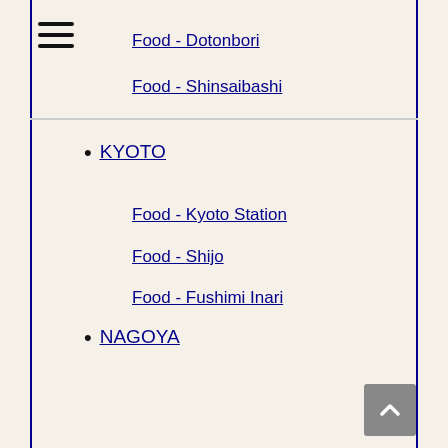Food - Dotonbori
Food - Shinsaibashi
KYOTO
Food - Kyoto Station
Food - Shijo
Food - Fushimi Inari
NAGOYA
Features
Feature - Tokyo Unique Restaurants
Feature - Best Sightseeing Spots
Feature - Enoshima Island from Tokyo
Feature - Best Yokocho Alleys in Tokyo
Feature - Bus Stations
Feature - Budget Restaurants